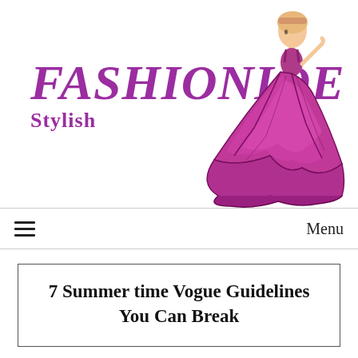[Figure (logo): FashionIQE Stylish logo with fashion illustration of woman in flowing purple/magenta dress]
≡  Menu
7 Summer time Vogue Guidelines You Can Break